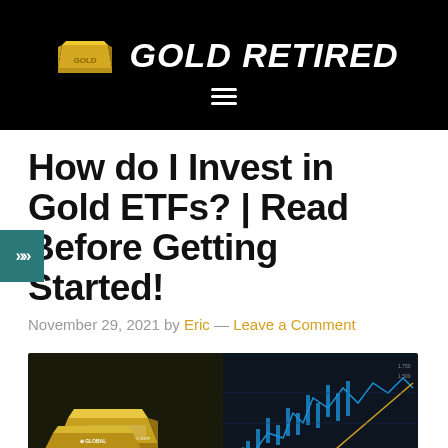GOLD RETIRED
How do I Invest in Gold ETFs? | Read Before Getting Started!
November 29, 2021 by Eric — Leave a Comment
[Figure (photo): Photo showing Global Intergold branded gold bars on the left and a financial trading chart display with blue candlestick chart on the right]